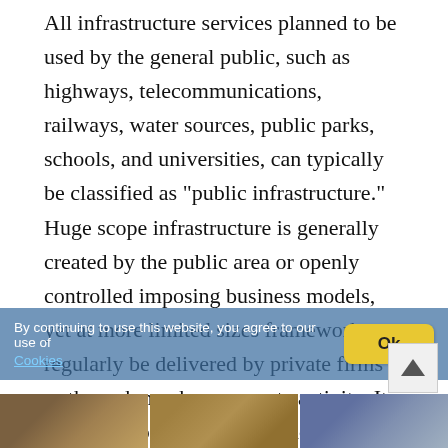All infrastructure services planned to be used by the general public, such as highways, telecommunications, railways, water sources, public parks, schools, and universities, can typically be classified as "public infrastructure." Huge scope infrastructure is generally created by the public area or openly controlled imposing business models, yet at more limited sizes framework can regularly be delivered by private firms or through nearby aggregate activity. It increases society's living conditions by providing necessary goods and services to support a healthy life. The level of development of that economy is determined by the level of such investments made by a country.
By continuing to use this website, you agree to our use of Cookies
[Figure (photo): Three photos at the bottom of the page showing infrastructure or landscape scenes]